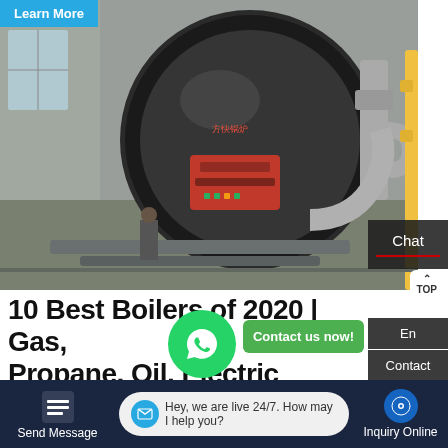[Figure (photo): Industrial boiler photo showing a large cylindrical boiler with red burner head, metal pipes and ductwork in an industrial warehouse setting]
Learn More
Chat
TOP
En
10 Best Boilers of 2020 | Gas, Propane, Oil, Electric
May 06, 2020 · The Slant/Fin Sentry boiler is a gas hot
Contact us now!
Contact
Hey, we are live 24/7. How may I help you?
Send Message
Inquiry Online